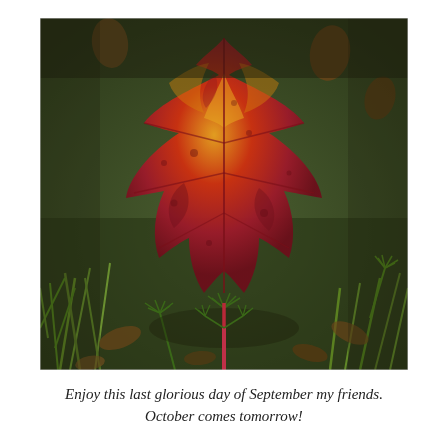[Figure (photo): A close-up photograph of a large red and orange maple leaf lying on a forest floor covered in green grass, pine needles, and small brown leaves. The leaf displays vivid autumn colors — deep red, crimson, and golden yellow — with a long pink-red stem extending downward into the greenery.]
Enjoy this last glorious day of September my friends. October comes tomorrow!